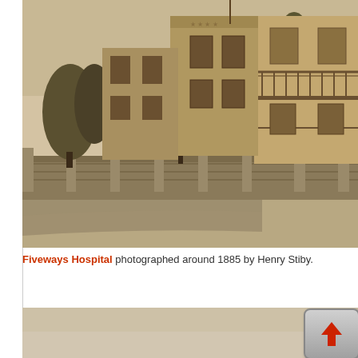[Figure (photo): Sepia-toned historical photograph of Fiveways Hospital, a large two-storey Victorian-era brick building with verandahs and balconies, surrounded by trees and gardens, with a stone retaining wall and dirt road in the foreground. Photographed around 1885 by Henry Stiby.]
Fiveways Hospital photographed around 1885 by Henry Stiby.
[Figure (photo): Partial view of a second sepia-toned historical photograph, mostly blank/faded, with an upload button icon in the bottom-right corner.]